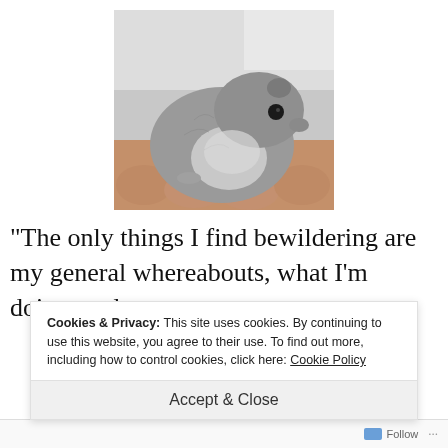[Figure (photo): A small grey and white chinchilla or hamster-like rodent sitting in a person's cupped hands. The animal has grey fur on top, lighter underbelly, and a round body. Background is light/white.]
“The only things I find bewildering are my general whereabouts, what I’m doing, and w
Cookies & Privacy: This site uses cookies. By continuing to use this website, you agree to their use. To find out more, including how to control cookies, click here: Cookie Policy
Accept & Close
Follow